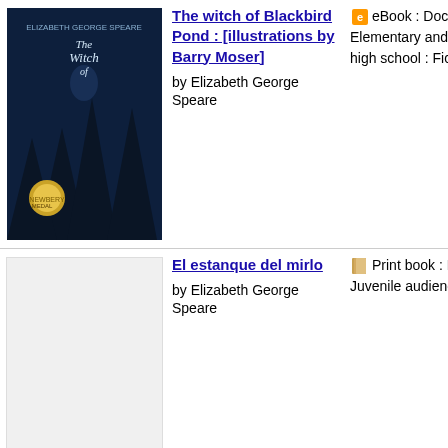[Figure (photo): Book cover of The Witch of Blackbird Pond with dark forest imagery and a gold medal]
The witch of Blackbird Pond : [illustrations by Barry Moser]
by Elizabeth George Speare
eBook : Document : Elementary and junior high school : Fiction
English
2001
Bos Hou Miff Cor
[Figure (photo): Blank/placeholder book cover for El estanque del mirlo]
El estanque del mirlo
by Elizabeth George Speare
Print book : Fiction : Juvenile audience
Spanish
1997 2. ed
Bar Nog Car
español | Français |
s | ০০০০০০০ | ০০০ | ০০০
| My Lists | My
reserved. | Privacy
age my cookies